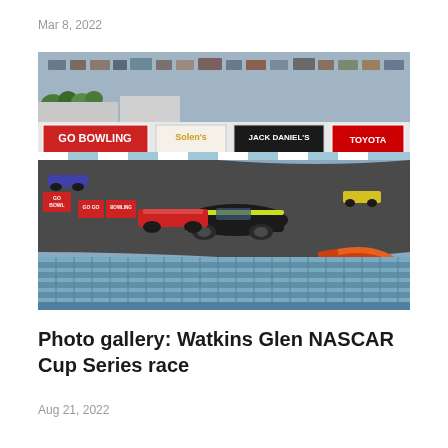Mar 8, 2022
[Figure (photo): NASCAR Cup Series race cars navigating a turn at Watkins Glen International road course. The foreground shows a black and yellow Ford Mustang race car leading a red car. Advertising billboards visible in the background include GO BOWLING, Solen's, Jack Daniel's, and Toyota. Blue grandstand seats visible in the foreground bottom. The track is set amid greenery and a parking lot is visible in the upper background.]
Photo gallery: Watkins Glen NASCAR Cup Series race
Aug 21, 2022